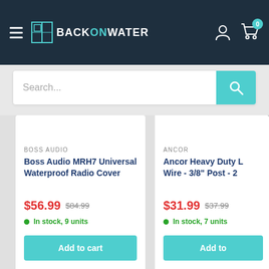[Figure (screenshot): BackOnWater e-commerce website header with hamburger menu, logo, user icon, and cart icon with 0 badge]
Search...
[Figure (photo): Partial image of a metallic ring/anchor fitting at top right]
BOSS AUDIO
Boss Audio MRH7 Universal Waterproof Radio Cover
$56.99  $84.99
In stock, 9 units
Add to cart
ANCOR
Ancor Heavy Duty L Wire - 3/8" Post - 2
$31.99  $37.99
In stock, 7 units
Add to